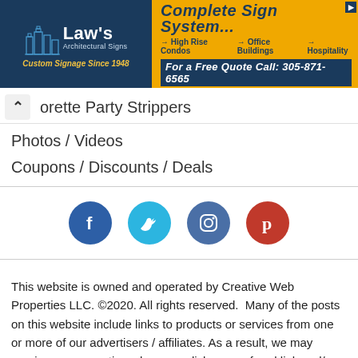[Figure (advertisement): Law's Architectural Signs banner ad with dark blue background on left showing logo and city skyline, and orange background on right for Complete Sign System with phone number 305-871-6565]
orette Party Strippers
Photos / Videos
Coupons / Discounts / Deals
[Figure (illustration): Social media icons: Facebook (dark blue), Twitter (light blue), Instagram (blue-grey), Pinterest (red)]
This website is owned and operated by Creative Web Properties LLC. ©2020. All rights reserved.  Many of the posts on this website include links to products or services from one or more of our advertisers / affiliates. As a result, we may receive compensation when you click on a referral link and/or purchase said products or services.  Please review our advertising terms and privacy policy for